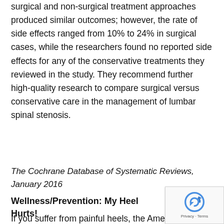surgical and non-surgical treatment approaches produced similar outcomes; however, the rate of side effects ranged from 10% to 24% in surgical cases, while the researchers found no reported side effects for any of the conservative treatments they reviewed in the study. They recommend further high-quality research to compare surgical versus conservative care in the management of lumbar spinal stenosis.
The Cochrane Database of Systematic Reviews, January 2016
Wellness/Prevention: My Heel Hurts!
If you suffer from painful heels, the American